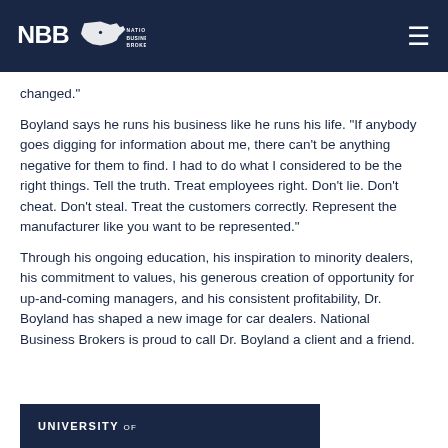NBB National Business Brokers
changed.
Boyland says he runs his business like he runs his life. “If anybody goes digging for information about me, there can’t be anything negative for them to find. I had to do what I considered to be the right things. Tell the truth. Treat employees right. Don’t lie. Don’t cheat. Don’t steal. Treat the customers correctly. Represent the manufacturer like you want to be represented.”
Through his ongoing education, his inspiration to minority dealers, his commitment to values, his generous creation of opportunity for up-and-coming managers, and his consistent profitability, Dr. Boyland has shaped a new image for car dealers. National Business Brokers is proud to call Dr. Boyland a client and a friend.
[Figure (photo): Dark banner image with text reading UNIVERSITY OF in white bold letters]